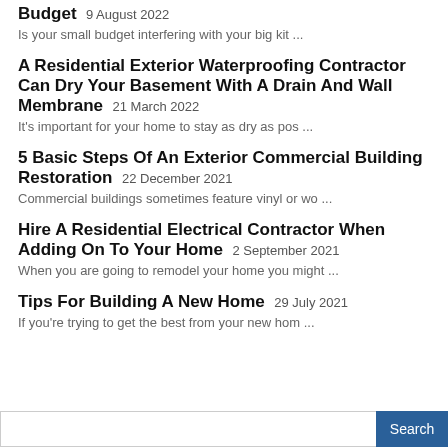Budget 9 August 2022
Is your small budget interfering with your big kit ...
A Residential Exterior Waterproofing Contractor Can Dry Your Basement With A Drain And Wall Membrane 21 March 2022
It's important for your home to stay as dry as pos ...
5 Basic Steps Of An Exterior Commercial Building Restoration 22 December 2021
Commercial buildings sometimes feature vinyl or wo ...
Hire A Residential Electrical Contractor When Adding On To Your Home 2 September 2021
When you are going to remodel your home you might ...
Tips For Building A New Home 29 July 2021
If you're trying to get the best from your new hom ...